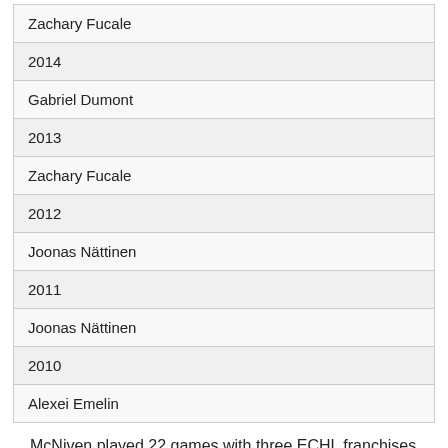| Zachary Fucale |
| 2014 |
| Gabriel Dumont |
| 2013 |
| Zachary Fucale |
| 2012 |
| Joonas Nättinen |
| 2011 |
| Joonas Nättinen |
| 2010 |
| Alexei Emelin |
McNiven played 22 games with three ECHL franchises